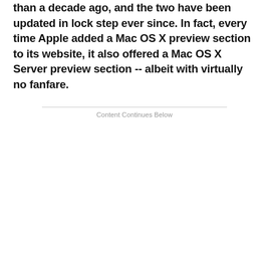than a decade ago, and the two have been updated in lock step ever since. In fact, every time Apple added a Mac OS X preview section to its website, it also offered a Mac OS X Server preview section -- albeit with virtually no fanfare.
Content Continues Below